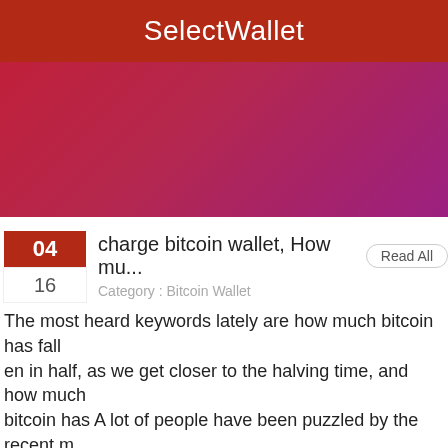SelectWallet
[Figure (illustration): Red to pink gradient banner image at top of article]
charge bitcoin wallet, How mu...
Category : Bitcoin Wallet
The most heard keywords lately are how much bitcoin has fallen in half, as we get closer to the halving time, and how much bitcoin has A lot of people have been puzzled by the recent market and are still studying and wondering when the halving bull market will come and if it will ever come again.
[Figure (illustration): Purple gradient banner with filename 3362-used-to-generate-bitcoin-wallet.jpg and white star shapes at bottom]